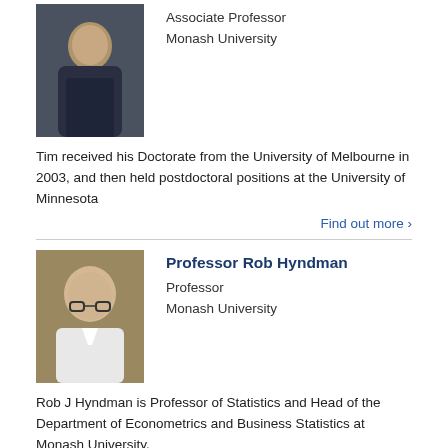[Figure (photo): Photo of Associate Professor at Monash University, man in dark shirt in front of bookshelves]
Associate Professor
Monash University
Tim received his Doctorate from the University of Melbourne in 2003, and then held postdoctoral positions at the University of Minnesota
Find out more >
[Figure (photo): Photo of Professor Rob Hyndman, bald man with glasses]
Professor Rob Hyndman
Professor
Monash University
Rob J Hyndman is Professor of Statistics and Head of the Department of Econometrics and Business Statistics at Monash University.
Find out more >